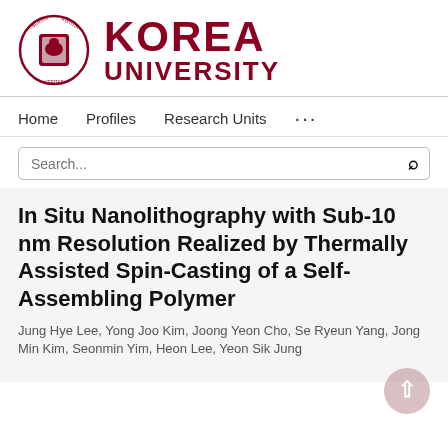[Figure (logo): Korea University logo with circular emblem and bold red KOREA UNIVERSITY text]
Home   Profiles   Research Units   ...
[Figure (screenshot): Search bar with placeholder text 'Search...' and search icon]
In Situ Nanolithography with Sub-10 nm Resolution Realized by Thermally Assisted Spin-Casting of a Self-Assembling Polymer
Jung Hye Lee, Yong Joo Kim, Joong Yeon Cho, Se Ryeun Yang, Jong Min Kim, Seonmin Yim, Heon Lee, Yeon Sik Jung